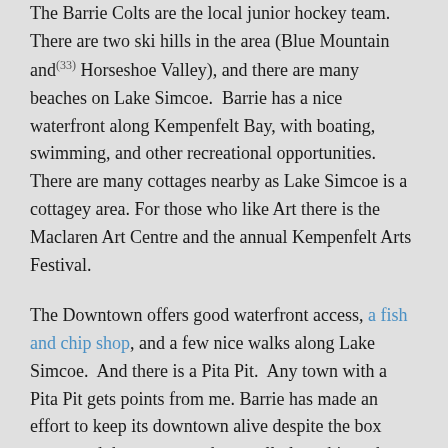The Barrie Colts are the local junior hockey team. There are two ski hills in the area (Blue Mountain and(33) Horseshoe Valley), and there are many beaches on Lake Simcoe.  Barrie has a nice waterfront along Kempenfelt Bay, with boating, swimming, and other recreational opportunities.  There are many cottages nearby as Lake Simcoe is a cottagey area. For those who like Art there is the Maclaren Art Centre and the annual Kempenfelt Arts Festival.
The Downtown offers good waterfront access, a fish and chip shop, and a few nice walks along Lake Simcoe.  And there is a Pita Pit.  Any town with a Pita Pit gets points from me. Barrie has made an effort to keep its downtown alive despite the box stores and these new outdoor mall plaza things that have taken over outskirts of every suburban city these days, including their own.  Like any other city of this size, there are the usual indoor attractions, including miniputt, movies, and bowling.
I've received a fair amount of emails (okay, six) complaining that I painted Barrie as dry, uneventful and